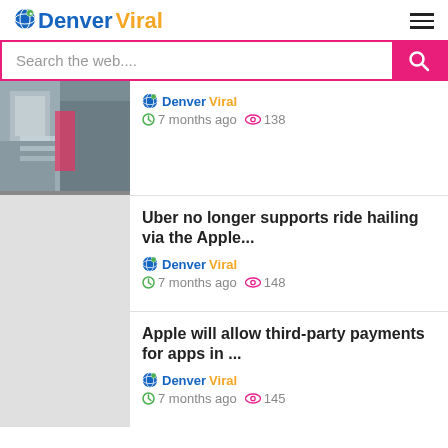Denver Viral
Search the web....
Denver Viral · 7 months ago · 138 views
Uber no longer supports ride hailing via the Apple... · Denver Viral · 7 months ago · 148 views
Apple will allow third-party payments for apps in ... · Denver Viral · 7 months ago · 145 views